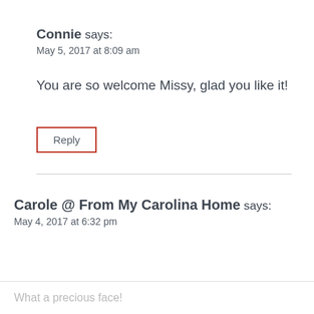Connie says:
May 5, 2017 at 8:09 am
You are so welcome Missy, glad you like it!
Reply
Carole @ From My Carolina Home says:
May 4, 2017 at 6:32 pm
What a precious face!